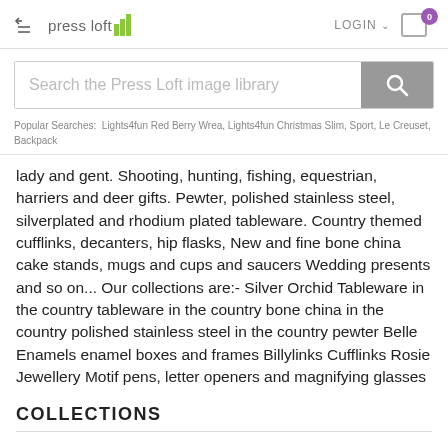Press Loft — LOGIN 0
Search the Press Loft image library
Popular Searches:  Lights4fun Red Berry Wrea, Lights4fun Christmas Slim, Sport, Le Creuset, Backpack
lady and gent. Shooting, hunting, fishing, equestrian, harriers and deer gifts. Pewter, polished stainless steel, silverplated and rhodium plated tableware. Country themed cufflinks, decanters, hip flasks, New and fine bone china cake stands, mugs and cups and saucers Wedding presents and so on... Our collections are:- Silver Orchid Tableware in the country tableware in the country bone china in the country polished stainless steel in the country pewter Belle Enamels enamel boxes and frames Billylinks Cufflinks Rosie Jewellery Motif pens, letter openers and magnifying glasses
COLLECTIONS